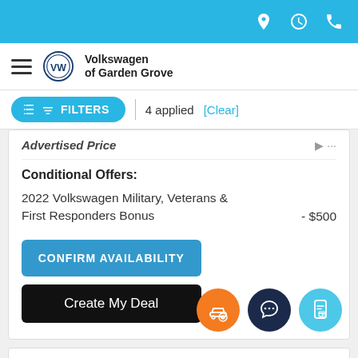Volkswagen of Garden Grove — top navigation bar with location, clock, and phone icons
Volkswagen of Garden Grove
FILTERS | 4 applied [Clear]
Advertised Price
Conditional Offers:
2022 Volkswagen Military, Veterans & First Responders Bonus - $500
CONFIRM AVAILABILITY
Create My Deal